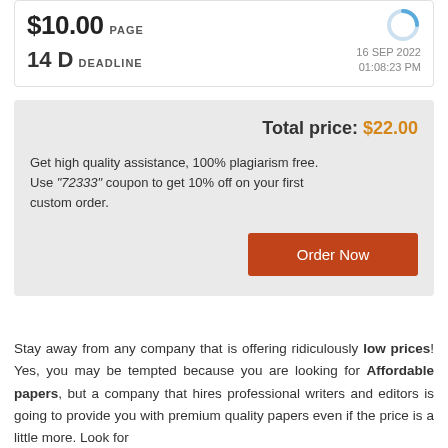[Figure (screenshot): Order summary card showing price $10.00 per page, 14 D deadline, date 16 SEP 2022 01:08:23 PM, with a circular loader icon]
Total price: $22.00
Get high quality assistance, 100% plagiarism free. Use "72333" coupon to get 10% off on your first custom order.
Order Now
Stay away from any company that is offering ridiculously low prices! Yes, you may be tempted because you are looking for Affordable papers, but a company that hires professional writers and editors is going to provide you with premium quality papers even if the price is a little more. Look for